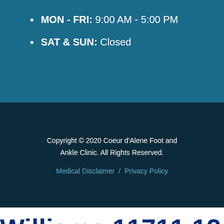MON - FRI: 9:00 AM - 5:00 PM
SAT & SUN: Closed
Copyright © 2020 Coeur d'Alene Foot and Ankle Clinic. All Rights Reserved.
Medical Disclaimer  /  Privacy Policy
Williams 11711 12-Point Combination Wrench 11mm